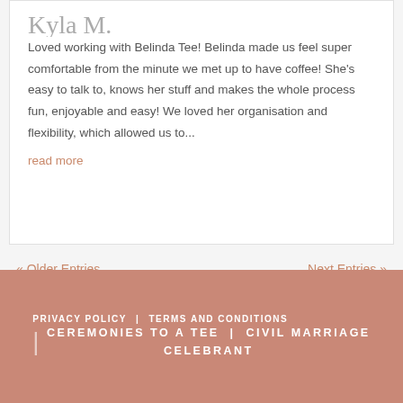Loved working with Belinda Tee! Belinda made us feel super comfortable from the minute we met up to have coffee! She's easy to talk to, knows her stuff and makes the whole process fun, enjoyable and easy! We loved her organisation and flexibility, which allowed us to...
read more
« Older Entries
Next Entries »
PRIVACY POLICY | TERMS AND CONDITIONS | CEREMONIES TO A TEE | CIVIL MARRIAGE CELEBRANT